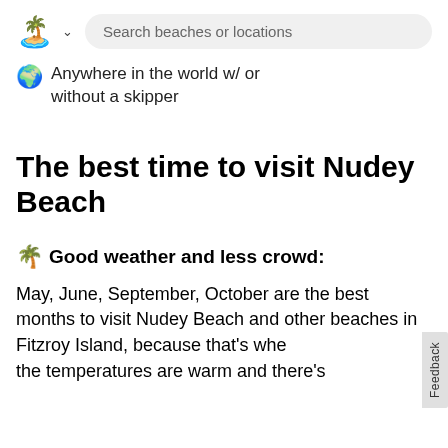[Figure (screenshot): App header with beach/island emoji logo and dropdown chevron]
Search beaches or locations
Anywhere in the world w/ or without a skipper
The best time to visit Nudey Beach
🌴 Good weather and less crowd:
May, June, September, October are the best months to visit Nudey Beach and other beaches in Fitzroy Island, because that's when the temperatures are warm and there's